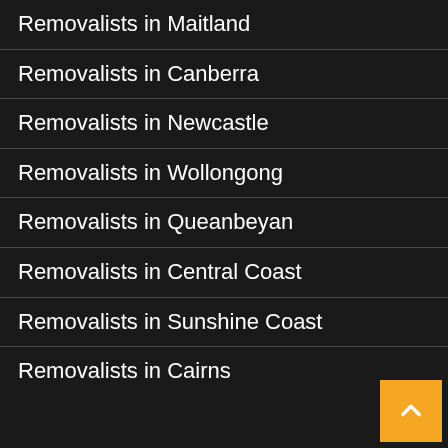Removalists in Maitland
Removalists in Canberra
Removalists in Newcastle
Removalists in Wollongong
Removalists in Queanbeyan
Removalists in Central Coast
Removalists in Sunshine Coast
Removalists in Cairns